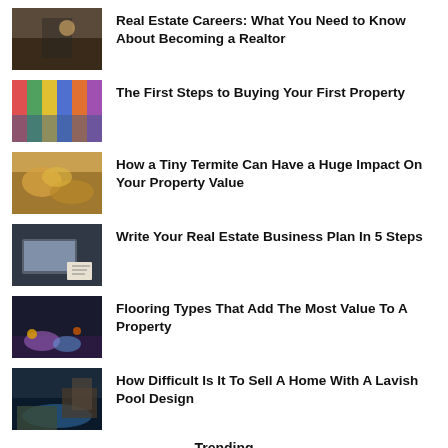Real Estate Careers: What You Need to Know About Becoming a Realtor
The First Steps to Buying Your First Property
How a Tiny Termite Can Have a Huge Impact On Your Property Value
Write Your Real Estate Business Plan In 5 Steps
Flooring Types That Add The Most Value To A Property
How Difficult Is It To Sell A Home With A Lavish Pool Design
Trending
INVESTMENT
Investors Compare Residential To